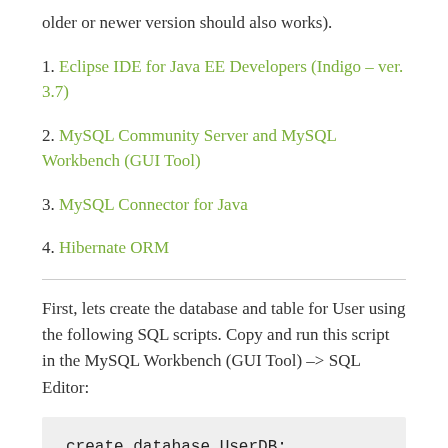older or newer version should also works).
1. Eclipse IDE for Java EE Developers (Indigo – ver. 3.7)
2. MySQL Community Server and MySQL Workbench (GUI Tool)
3. MySQL Connector for Java
4. Hibernate ORM
First, lets create the database and table for User using the following SQL scripts. Copy and run this script in the MySQL Workbench (GUI Tool) -> SQL Editor:
create database UserDB;